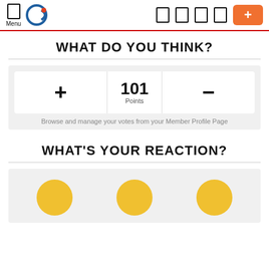Menu [logo] [nav icons] [+ button]
WHAT DO YOU THINK?
101 Points
Browse and manage your votes from your Member Profile Page
WHAT'S YOUR REACTION?
[Figure (illustration): Three yellow emoji circles representing reaction options]